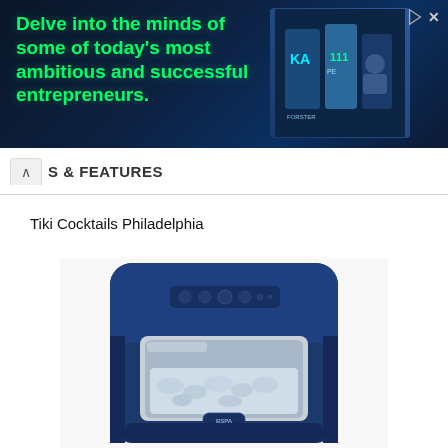[Figure (photo): Advertisement banner with dark blue/teal background showing bold green text: 'Delve into the minds of some of today's most ambitious and successful entrepreneurs.' with book imagery on the right side and a close/play button in the top right corner.]
S & FEATURES
Tiki Cocktails Philadelphia
[Figure (photo): Product photo of a navy blue countertop ice maker machine (BSPA brand) with a transparent front window showing ice inside, and control buttons on top.]